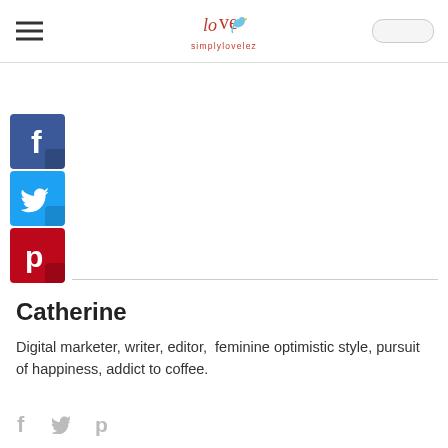simplylovelez
[Figure (logo): Simply Love Lez blog logo with bird and heart icon and 'simplylovelez' text in red]
[Figure (infographic): Three vertical social media share buttons: Facebook (blue with f), Twitter (cyan with bird icon), Pinterest (red with P icon)]
Catherine
Digital marketer, writer, editor,  feminine optimistic style, pursuit of happiness, addict to coffee.
[Figure (infographic): Three small gray social media icons at bottom: Facebook, Twitter, Pinterest]